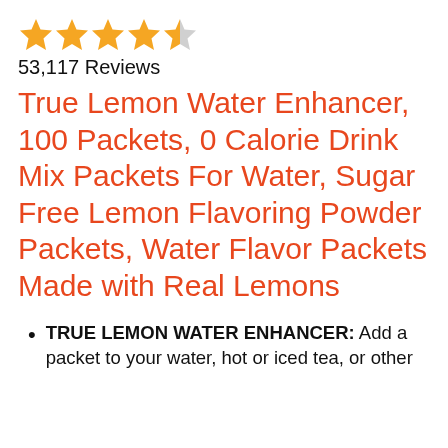[Figure (other): 4.5 star rating shown as gold stars (4 filled, 1 half-filled)]
53,117 Reviews
True Lemon Water Enhancer, 100 Packets, 0 Calorie Drink Mix Packets For Water, Sugar Free Lemon Flavoring Powder Packets, Water Flavor Packets Made with Real Lemons
TRUE LEMON WATER ENHANCER: Add a packet to your water, hot or iced tea, or other